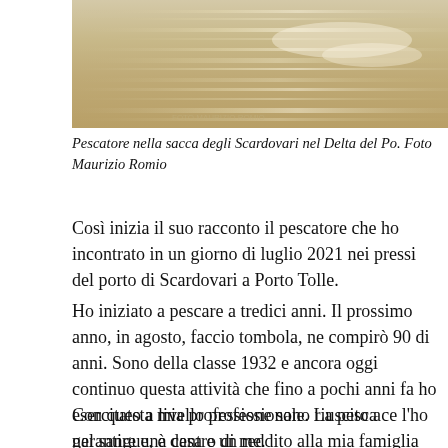[Figure (photo): Aerial or water-level photo of a fishing scene on the Sacca degli Scardovari in the Po Delta, showing shimmering water surface in golden-beige tones.]
Pescatore nella sacca degli Scardovari nel Delta del Po. Foto Maurizio Romio
Così inizia il suo racconto il pescatore che ho incontrato in un giorno di luglio 2021 nei pressi del porto di Scardovari a Porto Tolle.
Ho iniziato a pescare a tredici anni. Il prossimo anno, in agosto, faccio tombola, ne compirò 90 di anni. Sono della classe 1932 e ancora oggi continuo questa attività che fino a pochi anni fa ho esercitato a livello professionale. La pesca ce l'ho nel sangue, è dentro di me.
Con questa mia professione sono riuscito a garantire una casa e un reddito alla mia famiglia composta da mia moglie e quattro figli. Diversamente dal presente, in